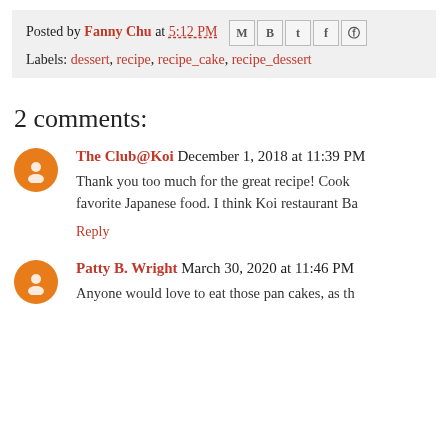Posted by Fanny Chu at 5:12 PM [social icons]
Labels: dessert, recipe, recipe_cake, recipe_dessert
2 comments:
The Club@Koi  December 1, 2018 at 11:39 PM
Thank you too much for the great recipe! Cook... favorite Japanese food. I think Koi restaurant Ba...
Reply
Patty B. Wright  March 30, 2020 at 11:46 PM
Anyone would love to eat those pan cakes, as th...